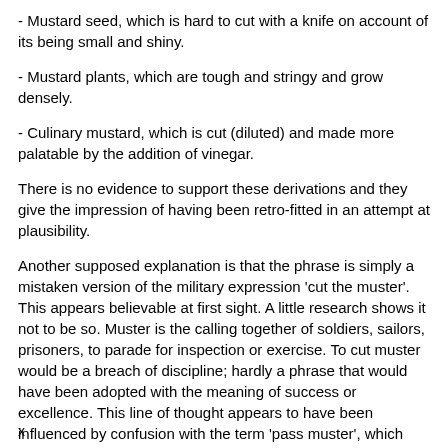- Mustard seed, which is hard to cut with a knife on account of its being small and shiny.
- Mustard plants, which are tough and stringy and grow densely.
- Culinary mustard, which is cut (diluted) and made more palatable by the addition of vinegar.
There is no evidence to support these derivations and they give the impression of having been retro-fitted in an attempt at plausibility.
Another supposed explanation is that the phrase is simply a mistaken version of the military expression 'cut the muster'. This appears believable at first sight. A little research shows it not to be so. Muster is the calling together of soldiers, sailors, prisoners, to parade for inspection or exercise. To cut muster would be a breach of discipline; hardly a phrase that would have been adopted with the meaning of success or excellence. This line of thought appears to have been influenced by confusion with the term 'pass muster', which would have the correct meaning, but which could hardly be argued to be the origin of 'cut the
x